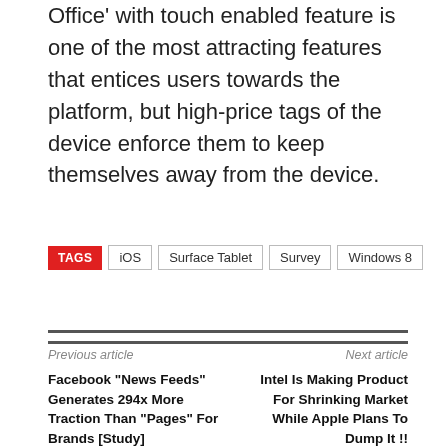Office' with touch enabled feature is one of the most attracting features that entices users towards the platform, but high-price tags of the device enforce them to keep themselves away from the device.
TAGS  iOS  Surface Tablet  Survey  Windows 8
Previous article
Next article
Facebook “News Feeds” Generates 294x More Traction Than “Pages” For Brands [Study]
Intel Is Making Product For Shrinking Market While Apple Plans To Dump It !!